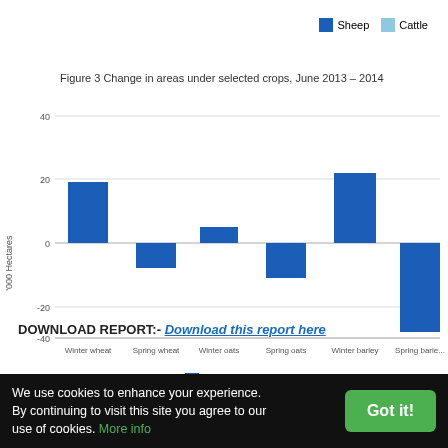[Figure (bar-chart): Figure 3 Change in areas under selected crops, June 2013 – 2014]
DOWNLOAD REPORT:- Download this report here
We use cookies to enhance your experience. By continuing to visit this site you agree to our use of cookies. More info